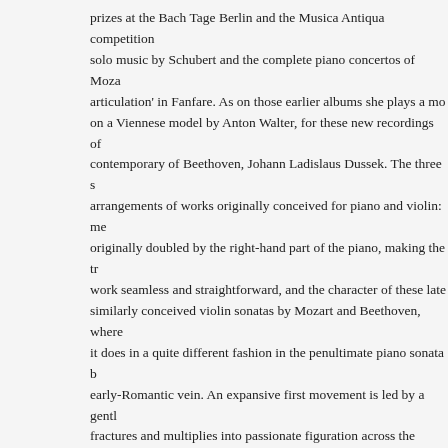prizes at the Bach Tage Berlin and the Musica Antiqua competition solo music by Schubert and the complete piano concertos of Moza articulation' in Fanfare. As on those earlier albums she plays a mo on a Viennese model by Anton Walter, for these new recordings of contemporary of Beethoven, Johann Ladislaus Dussek. The three s arrangements of works originally conceived for piano and violin: me originally doubled by the right-hand part of the piano, making the tr work seamless and straightforward, and the character of these late similarly conceived violin sonatas by Mozart and Beethoven, where it does in a quite different fashion in the penultimate piano sonata b early-Romantic vein. An expansive first movement is led by a gentl fractures and multiplies into passionate figuration across the entire the journey from Beethoven to Schubert in a nutshell. This is follow moderato and a gracefully turned Rondo finale, both again bearing though written at a time (1811) when the master of song was but a exciting new project: the 6th volume of the complete piano sonatas (1760-1812) was born in rural Bohemia. He led a restless life, trave and settling in several European capitals, notably Paris and Londo pianist and teacher. His close connection to piano manufacturer Br innovations, notably the extension of the keyboard to 6 octaves. Du expressive and pianistically challenging, Classicism on the brink of Viviana Sofronitsky, one of the foremost fortepianists of today (and pianist Vladimir Sofronitsky) plays the three early Sonatas Op. 9 ar 75. She plays a superb copy of a Walter pianoforte, made by Paul best instrument builder of his time, Mozart praised his pianos and c thought highly of them.